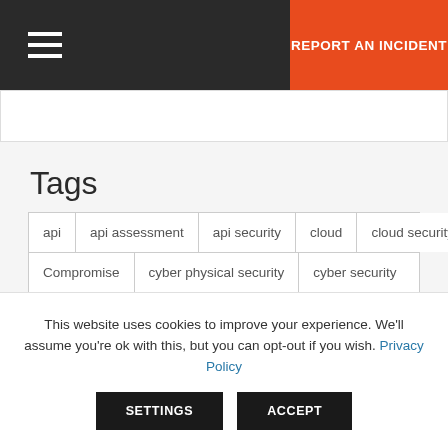REPORT AN INCIDENT
Tags
api
api assessment
api security
cloud
cloud security
Compromise
cyber physical security
cyber security
data breach
Data Security
devops
endpoint protections
endpoint security
energy
Hacker
This website uses cookies to improve your experience. We'll assume you're ok with this, but you can opt-out if you wish. Privacy Policy
SETTINGS  ACCEPT